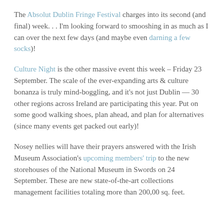The Absolut Dublin Fringe Festival charges into its second (and final) week. . . I'm looking forward to smooshing in as much as I can over the next few days (and maybe even darning a few socks)!
Culture Night is the other massive event this week – Friday 23 September. The scale of the ever-expanding arts & culture bonanza is truly mind-boggling, and it's not just Dublin — 30 other regions across Ireland are participating this year. Put on some good walking shoes, plan ahead, and plan for alternatives (since many events get packed out early)!
Nosey nellies will have their prayers answered with the Irish Museum Association's upcoming members' trip to the new storehouses of the National Museum in Swords on 24 September. These are new state-of-the-art collections management facilities totaling more than 200,00 sq. feet.